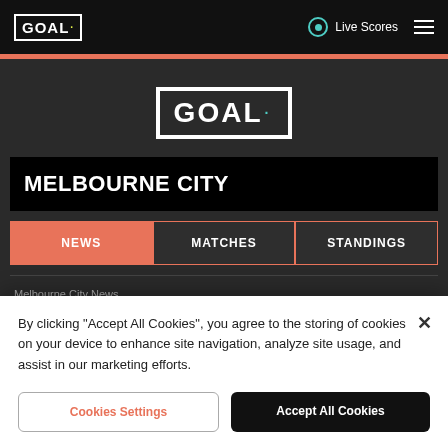GOAL Live Scores
[Figure (logo): GOAL logo large centered on dark background]
MELBOURNE CITY
NEWS
MATCHES
STANDINGS
Melbourne City News
By clicking "Accept All Cookies", you agree to the storing of cookies on your device to enhance site navigation, analyze site usage, and assist in our marketing efforts.
Cookies Settings
Accept All Cookies